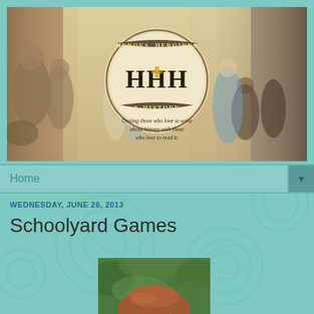[Figure (illustration): Heroes, Heroines & History blog banner with HHH monogram logo, historical paintings collage background showing biblical/medieval/civil war scenes, tagline: Uniting those who love to write about history with those who love to read it.]
Home ▼
WEDNESDAY, JUNE 26, 2013
Schoolyard Games
[Figure (photo): Headshot photo of a woman with reddish-brown hair, glasses, smiling, wearing a patterned jacket, outdoors with green foliage background.]